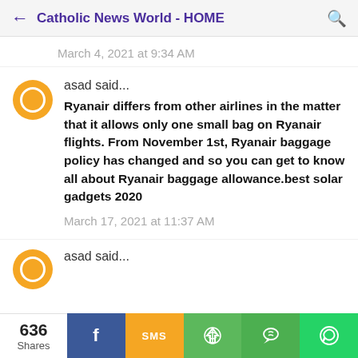Catholic News World - HOME
March 4, 2021 at 9:34 AM
asad said...
Ryanair differs from other airlines in the matter that it allows only one small bag on Ryanair flights. From November 1st, Ryanair baggage policy has changed and so you can get to know all about Ryanair baggage allowance.best solar gadgets 2020
March 17, 2021 at 11:37 AM
asad said...
636 Shares